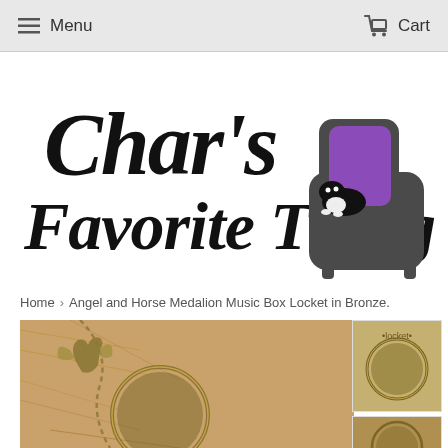Menu  Cart
[Figure (logo): Char's Favorite Things logo with cursive text and a cartoon armchair with a black and white cat sitting on a purple and dark grey recliner chair]
Home › Angel and Horse Medalion Music Box Locket in Bronze.
[Figure (photo): Close-up product photo of a bronze angel and horse medallion music box locket on a beige/tan fur or feathered background]
[Figure (photo): Small thumbnail of the same bronze medallion locket product]
[Figure (photo): Small thumbnail of the medallion locket product, partially visible at bottom]